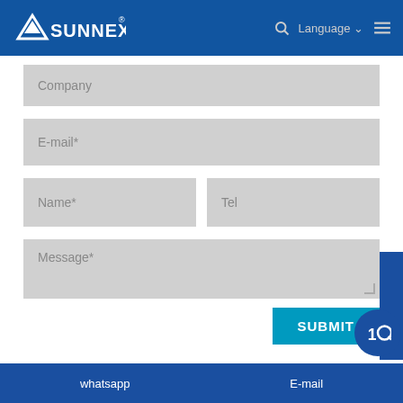SUNNEX | Language | Search | Menu
Company
E-mail*
Name*
Tel
Message*
SUBMIT
whatsapp | E-mail